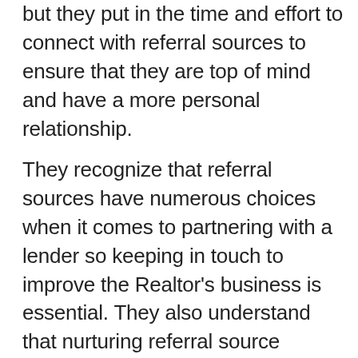but they put in the time and effort to connect with referral sources to ensure that they are top of mind and have a more personal relationship.
They recognize that referral sources have numerous choices when it comes to partnering with a lender so keeping in touch to improve the Realtor's business is essential. They also understand that nurturing referral source relationships takes more than sending out an occasional email or newsletter. They know that phone calls and in-person meetings with referral sources increase their chances of receiving the business.